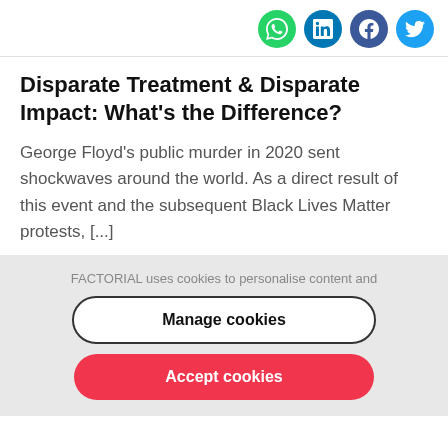[Figure (other): Social media share icons: WhatsApp (green), LinkedIn (dark blue), Facebook (dark blue), Twitter (light blue)]
Disparate Treatment & Disparate Impact: What’s the Difference?
George Floyd’s public murder in 2020 sent shockwaves around the world. As a direct result of this event and the subsequent Black Lives Matter protests, [...]
FACTORIAL uses cookies to personalise content and
Manage cookies
Accept cookies